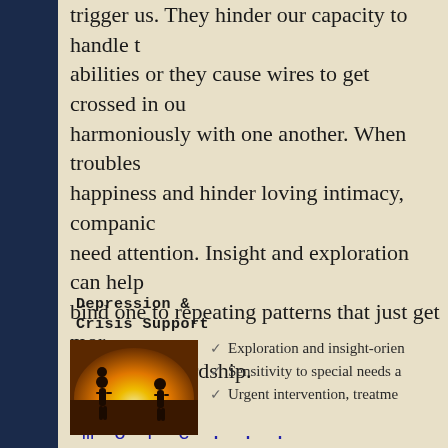trigger us. They hinder our capacity to handle t... abilities or they cause wires to get crossed in ou... harmoniously with one another. When troubles... happiness and hinder loving intimacy, companic... need attention. Insight and exploration can help... bind one to repeating patterns that just get mor... results and hardship.
more...
Depression & Crisis Support
[Figure (photo): Silhouette of family (adult carrying child, another figure beside) against a warm golden sunset background]
Exploration and insight-orien...
Sensitivity to special needs a...
Urgent intervention, treatme...